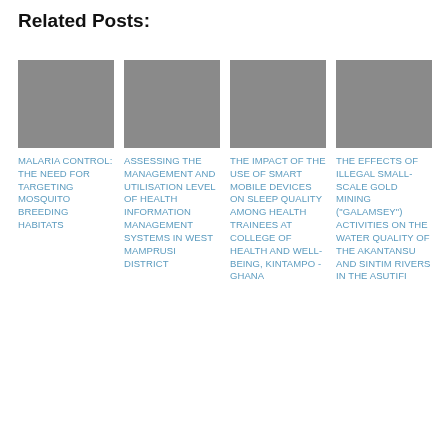Related Posts:
[Figure (photo): Grey placeholder image for Malaria Control post thumbnail]
MALARIA CONTROL: THE NEED FOR TARGETING MOSQUITO BREEDING HABITATS
[Figure (photo): Grey placeholder image for Assessing the Management and Utilisation Level of Health Information Management Systems post thumbnail]
ASSESSING THE MANAGEMENT AND UTILISATION LEVEL OF HEALTH INFORMATION MANAGEMENT SYSTEMS IN WEST MAMPRUSI DISTRICT
[Figure (photo): Grey placeholder image for The Impact of the Use of Smart Mobile Devices on Sleep Quality post thumbnail]
THE IMPACT OF THE USE OF SMART MOBILE DEVICES ON SLEEP QUALITY AMONG HEALTH TRAINEES AT COLLEGE OF HEALTH AND WELL-BEING, KINTAMPO - GHANA
[Figure (photo): Grey placeholder image for The Effects of Illegal Small-Scale Gold Mining post thumbnail]
THE EFFECTS OF ILLEGAL SMALL-SCALE GOLD MINING ("Galamsey") ACTIVITIES ON THE WATER QUALITY OF THE AKANTANSU AND SINTIM RIVERS IN THE ASUTIFI